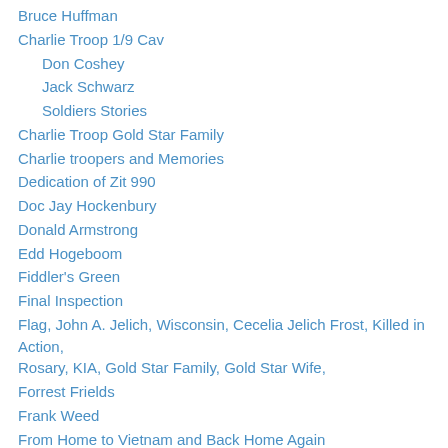Bruce Huffman
Charlie Troop 1/9 Cav
Don Coshey
Jack Schwarz
Soldiers Stories
Charlie Troop Gold Star Family
Charlie troopers and Memories
Dedication of Zit 990
Doc Jay Hockenbury
Donald Armstrong
Edd Hogeboom
Fiddler's Green
Final Inspection
Flag, John A. Jelich, Wisconsin, Cecelia Jelich Frost, Killed in Action, Rosary, KIA, Gold Star Family, Gold Star Wife,
Forrest Frields
Frank Weed
From Home to Vietnam and Back Home Again
G-I
General